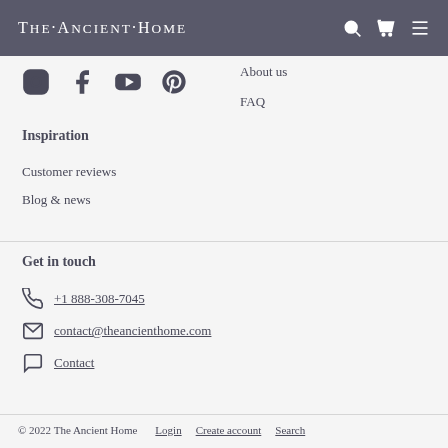The Ancient Home
[Figure (infographic): Social media icons: Instagram, Facebook, YouTube, Pinterest]
About us
FAQ
Inspiration
Customer reviews
Blog & news
Get in touch
+1 888-308-7045
contact@theancienthome.com
Contact
© 2022 The Ancient Home   Login   Create account   Search